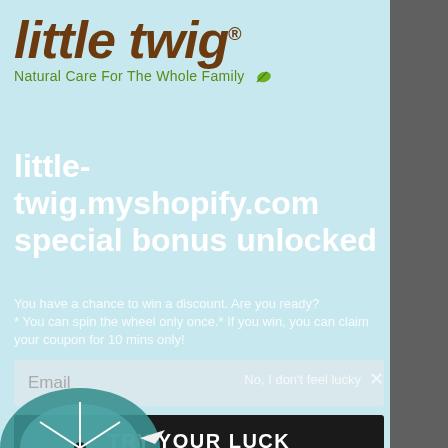[Figure (logo): Little Twig logo — brand name in brown italic bold font with tagline 'Natural Care For The Whole Family' in green with a leaf icon]
little-twig.myshopify.com special bonus unlocked
You have a chance to win a discount. Are you ready? * You can spin the wheel only once.* If you win, you can claim your coupon for 10 mins only!
Email
TRY YOUR LUCK
No, I don't feel lucky